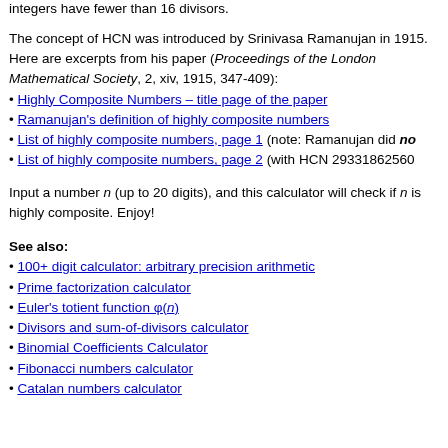integers have fewer than 16 divisors.
The concept of HCN was introduced by Srinivasa Ramanujan in 1915. Here are excerpts from his paper (Proceedings of the London Mathematical Society, 2, xiv, 1915, 347-409):
Highly Composite Numbers – title page of the paper
Ramanujan's definition of highly composite numbers
List of highly composite numbers, page 1 (note: Ramanujan did not
List of highly composite numbers, page 2 (with HCN 293318625600
Input a number n (up to 20 digits), and this calculator will check if n is highly composite. Enjoy!
See also:
100+ digit calculator: arbitrary precision arithmetic
Prime factorization calculator
Euler's totient function φ(n)
Divisors and sum-of-divisors calculator
Binomial Coefficients Calculator
Fibonacci numbers calculator
Catalan numbers calculator